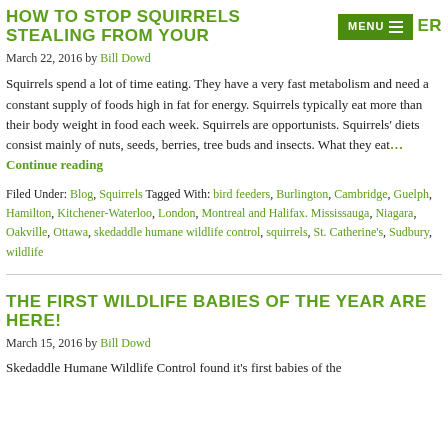HOW TO STOP SQUIRRELS STEALING FROM YOUR MENU ER
March 22, 2016 by Bill Dowd
Squirrels spend a lot of time eating. They have a very fast metabolism and need a constant supply of foods high in fat for energy. Squirrels typically eat more than their body weight in food each week. Squirrels are opportunists. Squirrels' diets consist mainly of nuts, seeds, berries, tree buds and insects. What they eat… Continue reading
Filed Under: Blog, Squirrels Tagged With: bird feeders, Burlington, Cambridge, Guelph, Hamilton, Kitchener-Waterloo, London, Montreal and Halifax. Mississauga, Niagara, Oakville, Ottawa, skedaddle humane wildlife control, squirrels, St. Catherine's, Sudbury, wildlife
THE FIRST WILDLIFE BABIES OF THE YEAR ARE HERE!
March 15, 2016 by Bill Dowd
Skedaddle Humane Wildlife Control found it's first babies of the